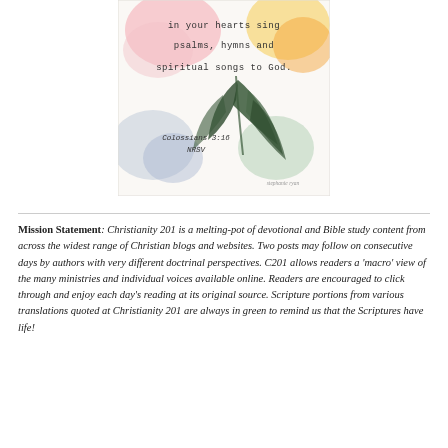[Figure (illustration): Watercolor floral illustration with text overlay reading 'in your hearts sing psalms, hymns and spiritual songs to God. Colossians 3:16 NRSV' on a background of colorful watercolor flowers and dark green leaves.]
Mission Statement: Christianity 201 is a melting-pot of devotional and Bible study content from across the widest range of Christian blogs and websites. Two posts may follow on consecutive days by authors with very different doctrinal perspectives. C201 allows readers a 'macro' view of the many ministries and individual voices available online. Readers are encouraged to click through and enjoy each day's reading at its original source. Scripture portions from various translations quoted at Christianity 201 are always in green to remind us that the Scriptures have life!